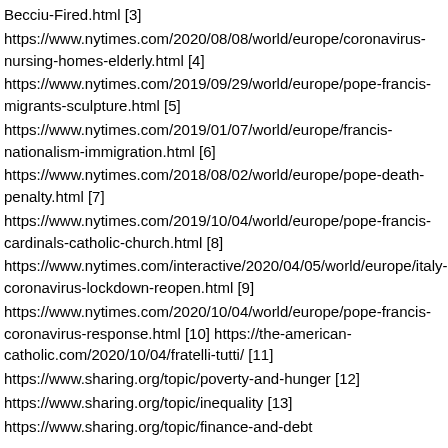Becciu-Fired.html [3]
https://www.nytimes.com/2020/08/08/world/europe/coronavirus-nursing-homes-elderly.html [4]
https://www.nytimes.com/2019/09/29/world/europe/pope-francis-migrants-sculpture.html [5]
https://www.nytimes.com/2019/01/07/world/europe/francis-nationalism-immigration.html [6]
https://www.nytimes.com/2018/08/02/world/europe/pope-death-penalty.html [7]
https://www.nytimes.com/2019/10/04/world/europe/pope-francis-cardinals-catholic-church.html [8]
https://www.nytimes.com/interactive/2020/04/05/world/europe/italy-coronavirus-lockdown-reopen.html [9]
https://www.nytimes.com/2020/10/04/world/europe/pope-francis-coronavirus-response.html [10] https://the-american-catholic.com/2020/10/04/fratelli-tutti/ [11]
https://www.sharing.org/topic/poverty-and-hunger [12]
https://www.sharing.org/topic/inequality [13]
https://www.sharing.org/topic/finance-and-debt